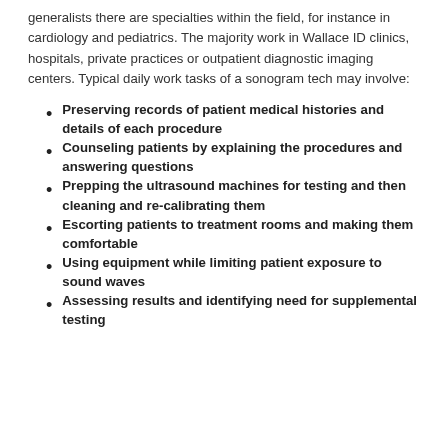generalists there are specialties within the field, for instance in cardiology and pediatrics. The majority work in Wallace ID clinics, hospitals, private practices or outpatient diagnostic imaging centers. Typical daily work tasks of a sonogram tech may involve:
Preserving records of patient medical histories and details of each procedure
Counseling patients by explaining the procedures and answering questions
Prepping the ultrasound machines for testing and then cleaning and re-calibrating them
Escorting patients to treatment rooms and making them comfortable
Using equipment while limiting patient exposure to sound waves
Assessing results and identifying need for supplemental testing